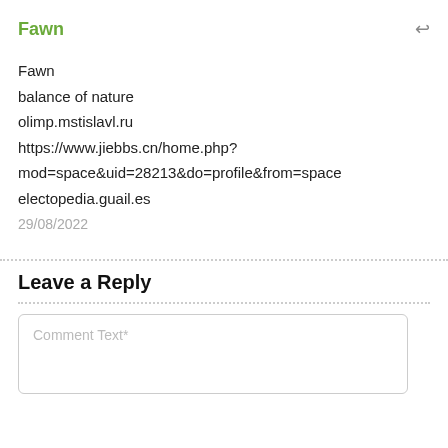Fawn
Fawn
balance of nature
olimp.mstislavl.ru
https://www.jiebbs.cn/home.php?mod=space&uid=28213&do=profile&from=space
electopedia.guail.es
29/08/2022
Leave a Reply
Comment Text*